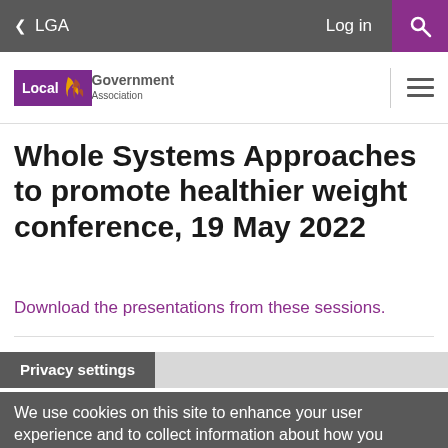< LGA    Log in    [Search]
[Figure (logo): Local Government Association logo — purple box with 'Local' text and flame icon, followed by 'Government Association' text in grey]
Whole Systems Approaches to promote healthier weight conference, 19 May 2022
Download the presentations from these sessions.
Privacy settings
We use cookies on this site to enhance your user experience and to collect information about how you